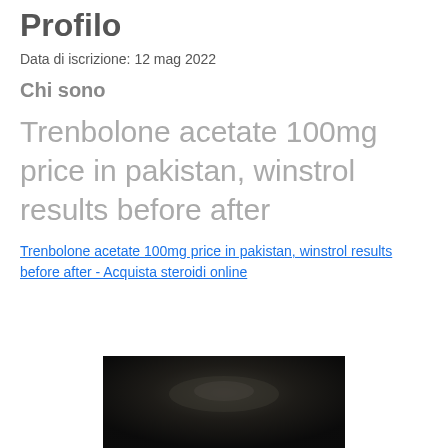Profilo
Data di iscrizione: 12 mag 2022
Chi sono
Trenbolone acetate 100mg price in pakistan, winstrol results before after
Trenbolone acetate 100mg price in pakistan, winstrol results before after - Acquista steroidi online
[Figure (photo): Dark blurred photograph, partially visible at bottom of page]